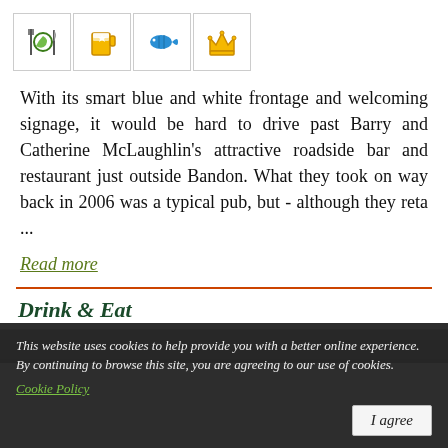[Figure (illustration): Four icon boxes in a row: a fork-and-knife with a green swirl, a beer mug, a blue fish, and a gold crown.]
With its smart blue and white frontage and welcoming signage, it would be hard to drive past Barry and Catherine McLaughlin's attractive roadside bar and restaurant just outside Bandon. What they took on way back in 2006 was a typical pub, but - although they reta ...
Read more
Drink & Eat
[Figure (photo): A dark partial photo strip of what appears to be a bar or restaurant interior.]
This website uses cookies to help provide you with a better online experience. By continuing to browse this site, you are agreeing to our use of cookies. Cookie Policy
I agree